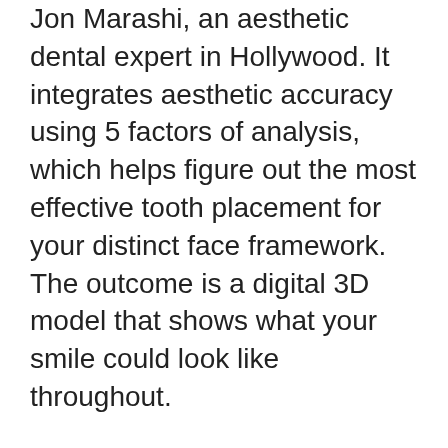Jon Marashi, an aesthetic dental expert in Hollywood. It integrates aesthetic accuracy using 5 factors of analysis, which helps figure out the most effective tooth placement for your distinct face framework. The outcome is a digital 3D model that shows what your smile could look like throughout.
After you and a licensed dental professional accept the 3D therapy plan, Byte will certainly supply every one of the aligners (with detailed directions) right to your door. These aligners will certainly move your teeth a little at once. After one collection of aligners is put on for a week or more, you'll carry on to the following set. This cycle proceeds up until your new smile is attained.